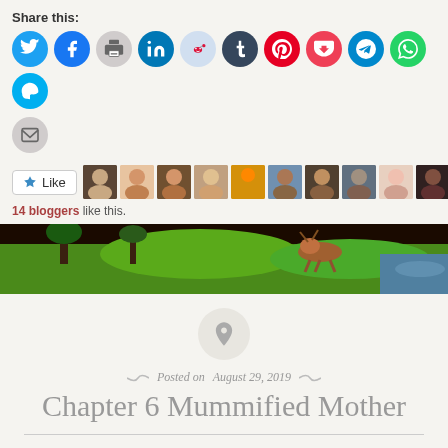Share this:
[Figure (infographic): Social sharing icons row: Twitter (blue), Facebook (blue), Print (light gray), LinkedIn (blue), Reddit (light blue), Tumblr (dark navy), Pinterest (red), Pocket (red), Telegram (teal), WhatsApp (green), Skype (light blue), and Email (gray)]
[Figure (infographic): Like button with star icon, and a row of 11 blogger avatar thumbnails]
14 bloggers like this.
[Figure (photo): Banner image showing a scene with an animal running on green grass with trees]
[Figure (infographic): Pin/pushpin icon in a light gray circle]
Posted on August 29, 2019
Chapter 6 Mummified Mother